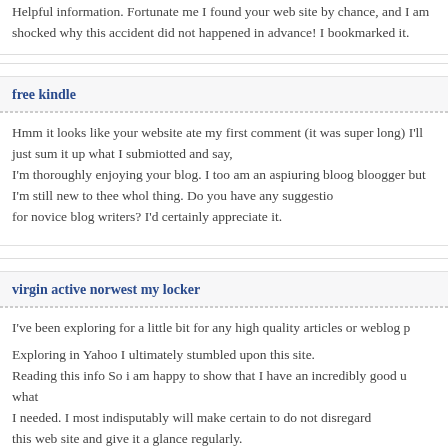Helpful Information. Fortunate me I found your web site by chance, and I am shocked why this accident did not happened in advance! I bookmarked it.
free kindle
Hmm it looks like your website ate my first comment (it was super long) I'll just sum it up what I submiotted and say, I'm thoroughly enjoying your blog. I too am an aspiuring bloog bloogger but I'm still new to thee whol thing. Do you have any suggestions for novice blog writers? I'd certainly appreciate it.
virgin active norwest my locker
I've been exploring for a little bit for any high quality articles or weblog p Exploring in Yahoo I ultimately stumbled upon this site. Reading this info So i am happy to show that I have an incredibly good u what I needed. I most indisputably will make certain to do not disregard this web site and give it a glance regularly.